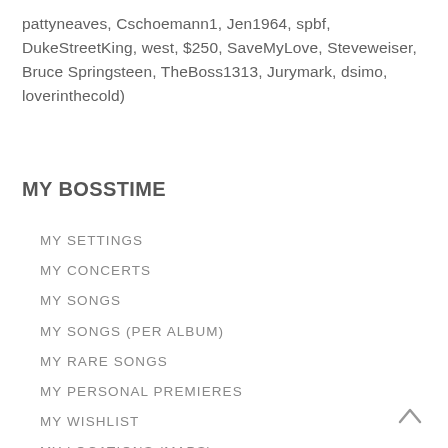pattyneaves, Cschoemann1, Jen1964, spbf, DukeStreetKing, west, $250, SaveMyLove, Steveweiser, Bruce Springsteen, TheBoss1313, Jurymark, dsimo, loverinthecold)
MY BOSSTIME
MY SETTINGS
MY CONCERTS
MY SONGS
MY SONGS (PER ALBUM)
MY RARE SONGS
MY PERSONAL PREMIERES
MY WISHLIST
MY LOCATIONS (MAPS)